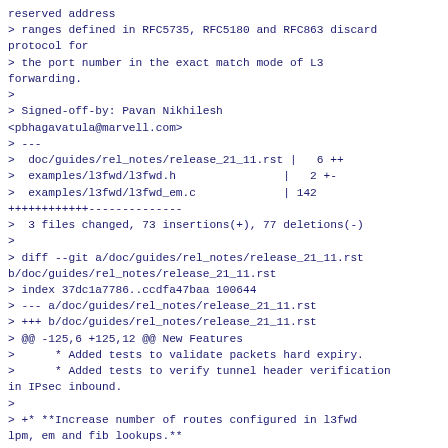reserved address
> ranges defined in RFC5735, RFC5180 and RFC863 discard protocol for
> the port number in the exact match mode of L3 forwarding.
>
> Signed-off-by: Pavan Nikhilesh <pbhagavatula@marvell.com>
> ---
>  doc/guides/rel_notes/release_21_11.rst |   6 ++
>  examples/l3fwd/l3fwd.h                |   2 +-
>  examples/l3fwd/l3fwd_em.c             | 142 +++++++++++--------------
>  3 files changed, 73 insertions(+), 77 deletions(-)
>
> diff --git a/doc/guides/rel_notes/release_21_11.rst b/doc/guides/rel_notes/release_21_11.rst
> index 37dc1a7786..ccdfa47baa 100644
> --- a/doc/guides/rel_notes/release_21_11.rst
> +++ b/doc/guides/rel_notes/release_21_11.rst
> @@ -125,6 +125,12 @@ New Features
>      * Added tests to validate packets hard expiry.
>      * Added tests to verify tunnel header verification in IPsec inbound.
>
> +* **Increase number of routes configured in l3fwd lpm, em and fib lookups.**
> +
> +  * Increase number of routes from 8 to 16 for all lookup modes of l3fwd, this
> + -- helps in validating SoC with more than 8